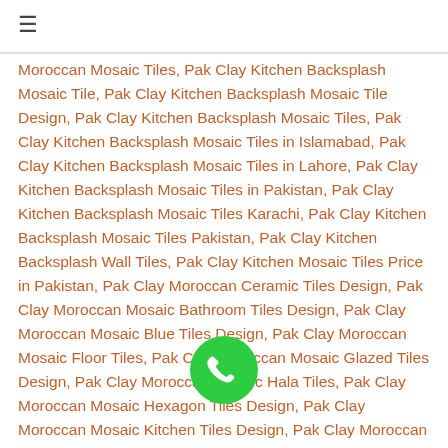≡
Moroccan Mosaic Tiles, Pak Clay Kitchen Backsplash Mosaic Tile, Pak Clay Kitchen Backsplash Mosaic Tile Design, Pak Clay Kitchen Backsplash Mosaic Tiles, Pak Clay Kitchen Backsplash Mosaic Tiles in Islamabad, Pak Clay Kitchen Backsplash Mosaic Tiles in Lahore, Pak Clay Kitchen Backsplash Mosaic Tiles in Pakistan, Pak Clay Kitchen Backsplash Mosaic Tiles Karachi, Pak Clay Kitchen Backsplash Mosaic Tiles Pakistan, Pak Clay Kitchen Backsplash Wall Tiles, Pak Clay Kitchen Mosaic Tiles Price in Pakistan, Pak Clay Moroccan Ceramic Tiles Design, Pak Clay Moroccan Mosaic Bathroom Tiles Design, Pak Clay Moroccan Mosaic Blue Tiles Design, Pak Clay Moroccan Mosaic Floor Tiles, Pak Clay Moroccan Mosaic Glazed Tiles Design, Pak Clay Moroccan Mosaic Hala Tiles, Pak Clay Moroccan Mosaic Hexagon Tiles Design, Pak Clay Moroccan Mosaic Kitchen Tiles Design, Pak Clay Moroccan Mosaic Livingroom Tiles Design, Pak Clay Moroccan Mosaic Multani Tiles Colors, Pak Clay Moroccan Mosaic Outdoor Tiles Design, Pak Clay Moroccan Mosaic Tile Design, Pak Clay Moroccan Mosaic Tile Designs, Pak Clay Moroccan Mosaic Tile in Pakistan, Pak Clay Moroccan Mosaic Tiles Design, Pak Clay Moroccan Mosaic Tiles Design in Lahore, Pak Clay Moroccan Mosaic Tiles Design in Pakistan, Pak Clay Moroccan Mosaic Tiles Design, Pak Clay Moroccan Mosaic Tiles Design, Pak Clay...